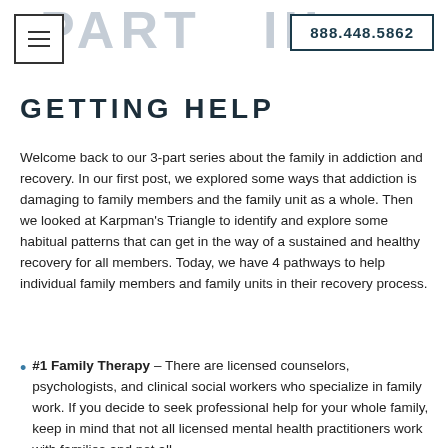PART III | 888.448.5862
GETTING HELP
Welcome back to our 3-part series about the family in addiction and recovery. In our first post, we explored some ways that addiction is damaging to family members and the family unit as a whole. Then we looked at Karpman’s Triangle to identify and explore some habitual patterns that can get in the way of a sustained and healthy recovery for all members. Today, we have 4 pathways to help individual family members and family units in their recovery process.
#1 Family Therapy – There are licensed counselors, psychologists, and clinical social workers who specialize in family work. If you decide to seek professional help for your whole family, keep in mind that not all licensed mental health practitioners work with families and not all